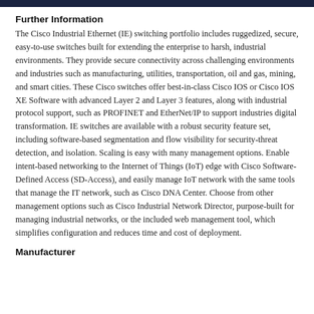Further Information
The Cisco Industrial Ethernet (IE) switching portfolio includes ruggedized, secure, easy-to-use switches built for extending the enterprise to harsh, industrial environments. They provide secure connectivity across challenging environments and industries such as manufacturing, utilities, transportation, oil and gas, mining, and smart cities. These Cisco switches offer best-in-class Cisco IOS or Cisco IOS XE Software with advanced Layer 2 and Layer 3 features, along with industrial protocol support, such as PROFINET and EtherNet/IP to support industries digital transformation. IE switches are available with a robust security feature set, including software-based segmentation and flow visibility for security-threat detection, and isolation. Scaling is easy with many management options. Enable intent-based networking to the Internet of Things (IoT) edge with Cisco Software-Defined Access (SD-Access), and easily manage IoT network with the same tools that manage the IT network, such as Cisco DNA Center. Choose from other management options such as Cisco Industrial Network Director, purpose-built for managing industrial networks, or the included web management tool, which simplifies configuration and reduces time and cost of deployment.
Manufacturer